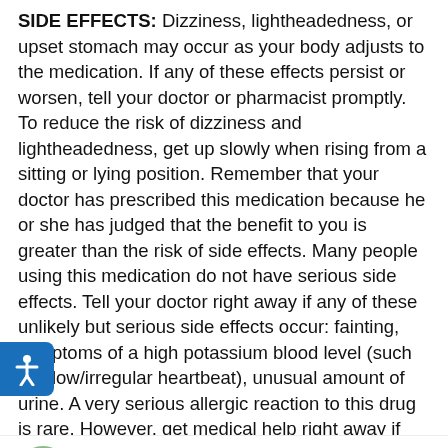SIDE EFFECTS: Dizziness, lightheadedness, or upset stomach may occur as your body adjusts to the medication. If any of these effects persist or worsen, tell your doctor or pharmacist promptly. To reduce the risk of dizziness and lightheadedness, get up slowly when rising from a sitting or lying position. Remember that your doctor has prescribed this medication because he or she has judged that the benefit to you is greater than the risk of side effects. Many people using this medication do not have serious side effects. Tell your doctor right away if any of these unlikely but serious side effects occur: fainting, symptoms of a high potassium blood level (such as slow/irregular heartbeat), unusual amount of urine. A very serious allergic reaction to this drug is rare. However, get medical help right away if you notice any symptoms of a serious allergic reaction including: rash, itching/swelling (especially of the face/tongue/throat), severe dizziness, trouble breathing. This is not a complete list of possible side effects. If you notice other effects not listed above, contact your doctor or pharmacist. In the US - Call your
[Figure (screenshot): Chat popup overlay with close button and HeWa chat widget at bottom right, partially covering the medical text. Close button shown in gray, popup says 'Let us know if there's anything we can help you with!' and bottom bar shows HeWa logo and 'Chat with us' label.]